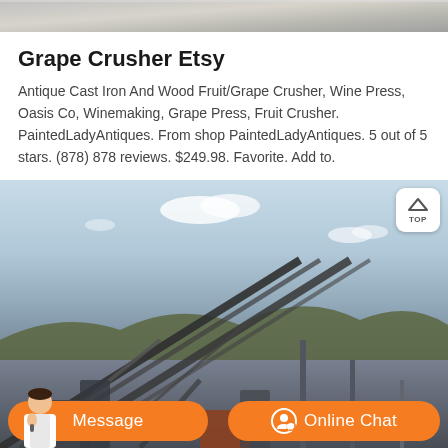[Figure (photo): Top portion of an outdoor photo, partially cropped, showing rocky/sandy terrain]
Grape Crusher Etsy
Antique Cast Iron And Wood Fruit/Grape Crusher, Wine Press, Oasis Co, Winemaking, Grape Press, Fruit Crusher. PaintedLadyAntiques. From shop PaintedLadyAntiques. 5 out of 5 stars. (878) 878 reviews. $249.98. Favorite. Add to.
[Figure (photo): Outdoor industrial photo showing large conveyor belts and mining/crushing equipment on a hillside under a blue sky with sparse clouds]
Message
Online Chat